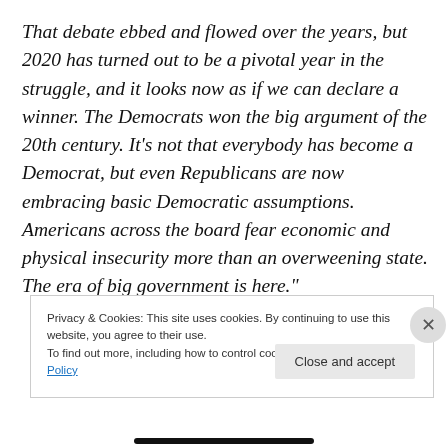That debate ebbed and flowed over the years, but 2020 has turned out to be a pivotal year in the struggle, and it looks now as if we can declare a winner. The Democrats won the big argument of the 20th century. It's not that everybody has become a Democrat, but even Republicans are now embracing basic Democratic assumptions. Americans across the board fear economic and physical insecurity more than an overweening state. The era of big government is here."
Privacy & Cookies: This site uses cookies. By continuing to use this website, you agree to their use.
To find out more, including how to control cookies, see here: Cookie Policy
Close and accept